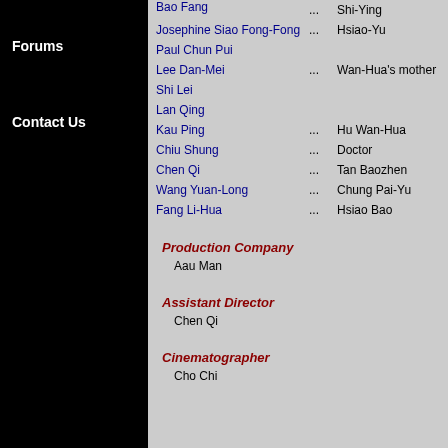Forums
Contact Us
| Actor |  | Role |
| --- | --- | --- |
| Bao Fang | ... | Shi-Ying |
| Josephine Siao Fong-Fong | ... | Hsiao-Yu |
| Paul Chun Pui |  |  |
| Lee Dan-Mei | ... | Wan-Hua's mother |
| Shi Lei |  |  |
| Lan Qing |  |  |
| Kau Ping | ... | Hu Wan-Hua |
| Chiu Shung | ... | Doctor |
| Chen Qi | ... | Tan Baozhen |
| Wang Yuan-Long | ... | Chung Pai-Yu |
| Fang Li-Hua | ... | Hsiao Bao |
Production Company
Aau Man
Assistant Director
Chen Qi
Cinematographer
Cho Chi